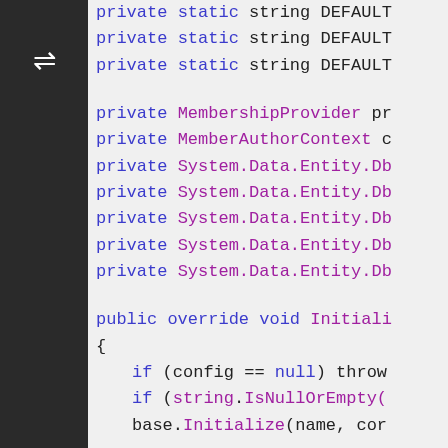[Figure (screenshot): Code editor screenshot showing C# class member declarations and an Initialize method stub with syntax highlighting. Keywords 'private', 'public', 'static', 'override', 'void' in blue; types like 'MembershipProvider', 'MemberAuthorContext', 'System.Data.Entity.Db' in purple; method calls and identifiers in purple/pink. Code is clipped on the right side.]